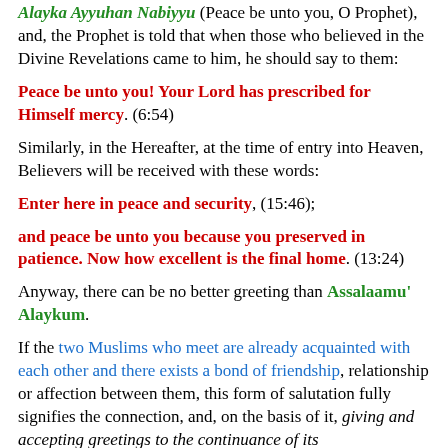Alayka Ayyuhan Nabiyyu (Peace be unto you, O Prophet), and, the Prophet is told that when those who believed in the Divine Revelations came to him, he should say to them:
Peace be unto you! Your Lord has prescribed for Himself mercy. (6:54)
Similarly, in the Hereafter, at the time of entry into Heaven, Believers will be received with these words:
Enter here in peace and security, (15:46);
and peace be unto you because you preserved in patience. Now how excellent is the final home. (13:24)
Anyway, there can be no better greeting than Assalaamu' Alaykum.
If the two Muslims who meet are already acquainted with each other and there exists a bond of friendship, relationship or affection between them, this form of salutation fully signifies the connection, and, on the basis of it, giving and accepting greetings to the continuance of its connection and love.